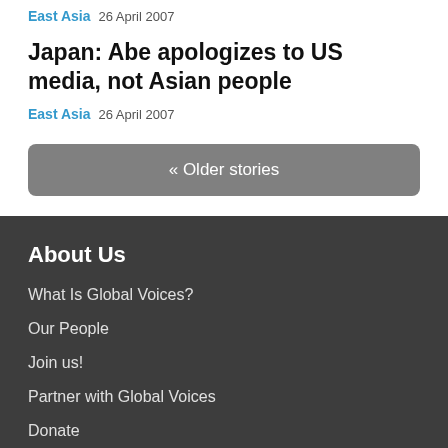East Asia  26 April 2007
Japan: Abe apologizes to US media, not Asian people
East Asia  26 April 2007
« Older stories
About Us
What Is Global Voices?
Our People
Join us!
Partner with Global Voices
Donate
Contact